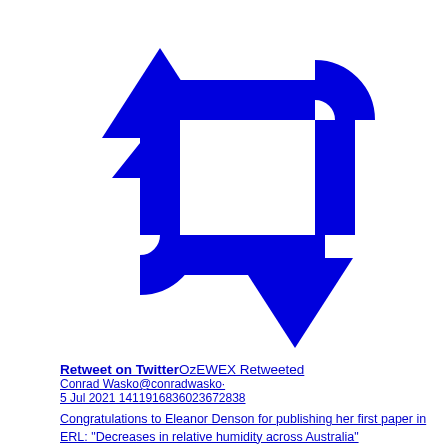[Figure (illustration): Twitter retweet icon in blue — two arrows forming a rectangular cycle: a large upward arrow on the left and a downward arrow on the right, connected by horizontal bars forming a rectangle.]
Retweet on TwitterOzEWEX Retweeted
Conrad Wasko@conradwasko·
5 Jul 2021 1411916836023672838

Congratulations to Eleanor Denson for publishing her first paper in ERL: "Decreases in relative humidity across Australia"

paper: